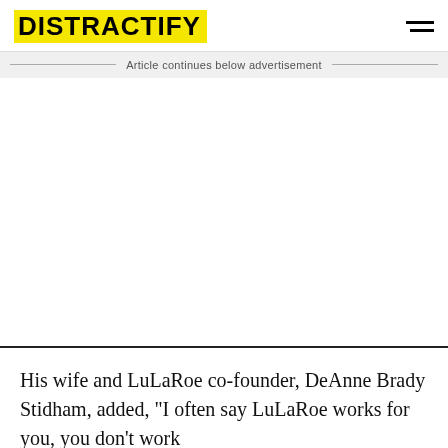DISTRACTIFY
Article continues below advertisement
His wife and LuLaRoe co-founder, DeAnne Brady Stidham, added, "I often say LuLaRoe works for you, you don't work